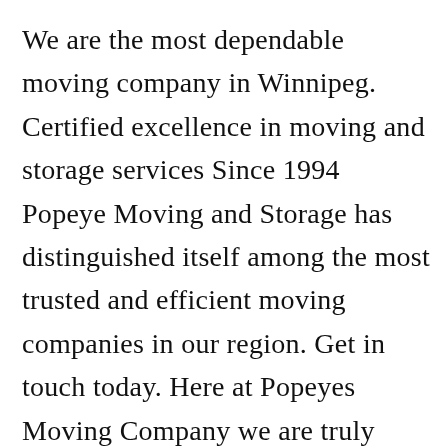We are the most dependable moving company in Winnipeg. Certified excellence in moving and storage services Since 1994 Popeye Moving and Storage has distinguished itself among the most trusted and efficient moving companies in our region. Get in touch today. Here at Popeyes Moving Company we are truly passionate about helping our clients ensure that their move is made as efficient safe and reliable and it shows in the quality of services we deliver as well as in t[X] long list of highly